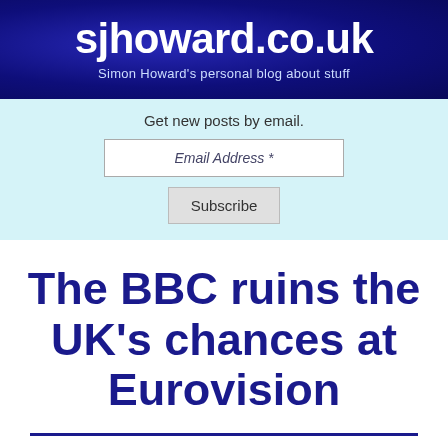sjhoward.co.uk — Simon Howard's personal blog about stuff
Get new posts by email.
The BBC ruins the UK's chances at Eurovision